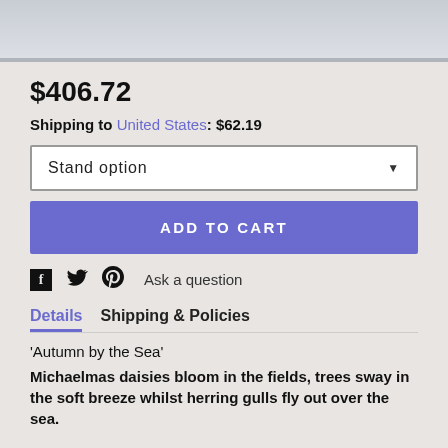[Figure (photo): Top portion of a product image, appears to show a seascape painting, cropped at top of page]
$406.72
Shipping to United States: $62.19
Stand option
ADD TO CART
Ask a question
Details  Shipping & Policies
'Autumn by the Sea'
Michaelmas daisies bloom in the fields, trees sway in the soft breeze whilst herring gulls fly out over the sea.